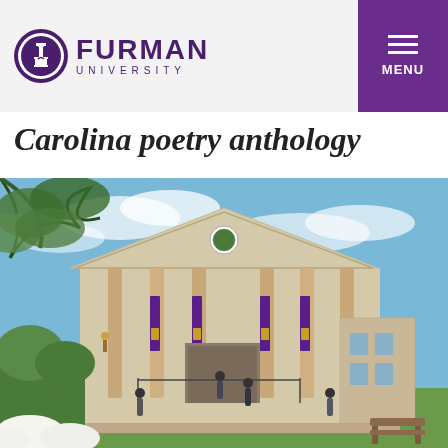Furman University
Carolina poetry anthology
[Figure (photo): Exterior photo of a Furman University building with a classical portico, brick columns, purple banners, steps leading to the entrance, trees and flowers in the foreground, blue sky with clouds in background, students walking near entrance.]